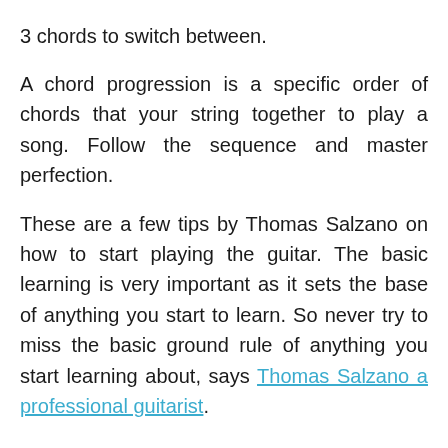3 chords to switch between.
A chord progression is a specific order of chords that your string together to play a song. Follow the sequence and master perfection.
These are a few tips by Thomas Salzano on how to start playing the guitar. The basic learning is very important as it sets the base of anything you start to learn. So never try to miss the basic ground rule of anything you start learning about, says Thomas Salzano a professional guitarist.